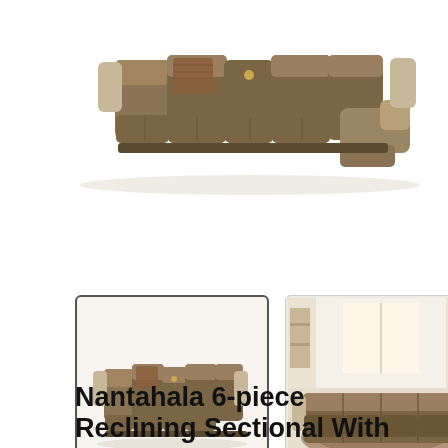[Figure (photo): Large top-view photo of a brown/tan reclining sectional sofa with multiple segments arranged in an L-shape. The sofa has padded armrests, a throw blanket draped on one section, and a reclining chaise on the right end.]
[Figure (photo): Thumbnail 1: Selected thumbnail showing the sectional sofa from a slightly elevated angle on white background, inside a bordered box.]
[Figure (photo): Thumbnail 2: Room-setting photo showing the brown reclining sectional sofa in a furnished living room with curtains and decor in the background.]
Nantahala 6-piece Reclining Sectional With